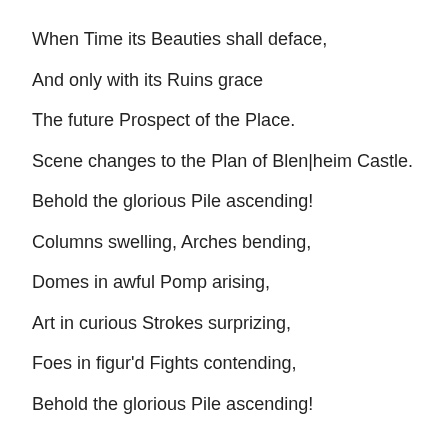When Time its Beauties shall deface,
And only with its Ruins grace
The future Prospect of the Place.
Scene changes to the Plan of Blen|heim Castle.
Behold the glorious Pile ascending!
Columns swelling, Arches bending,
Domes in awful Pomp arising,
Art in curious Strokes surprizing,
Foes in figur'd Fights contending,
Behold the glorious Pile ascending!